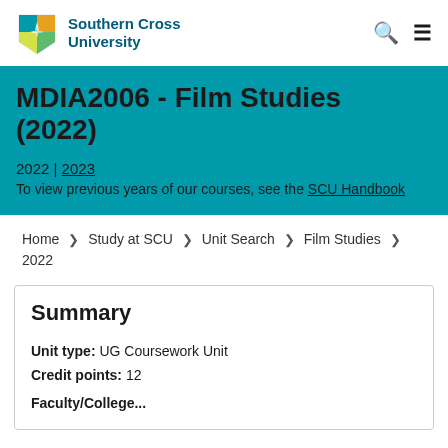Southern Cross University
MDIA2006 - Film Studies (2022)
2022 | 2023
To view previous years of our courses, see the SCU Handbook
Home > Study at SCU > Unit Search > Film Studies > 2022
Summary
Unit type: UG Coursework Unit
Credit points: 12
Faculty/College...